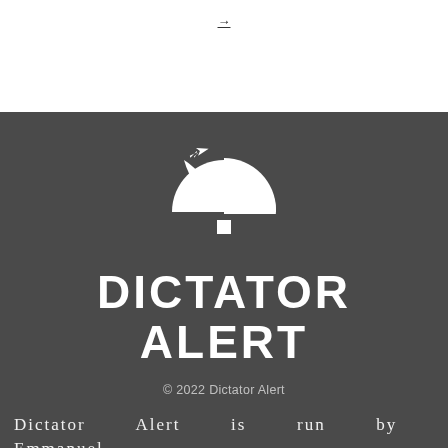→
[Figure (logo): Dictator Alert logo: white umbrella/radar dish icon with airplane silhouette above on dark gray background, with white square below the dome]
DICTATOR ALERT
© 2022 Dictator Alert
Dictator Alert is run by Emmanuel